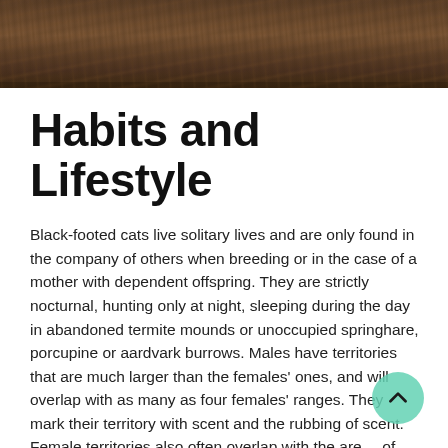[Figure (photo): Close-up photo of dry, textured brown soil or earth, shown as a horizontal strip at the top of the page.]
Habits and Lifestyle
Black-footed cats live solitary lives and are only found in the company of others when breeding or in the case of a mother with dependent offspring. They are strictly nocturnal, hunting only at night, sleeping during the day in abandoned termite mounds or unoccupied springhare, porcupine or aardvark burrows. Males have territories that are much larger than the females' ones, and will overlap with as many as four females' ranges. They mark their territory with scent and the rubbing of scent. Female territories also often overlap with the areas of other females, but they always hunt on their own. In one night, they can travel as far as 16 km in their search for food